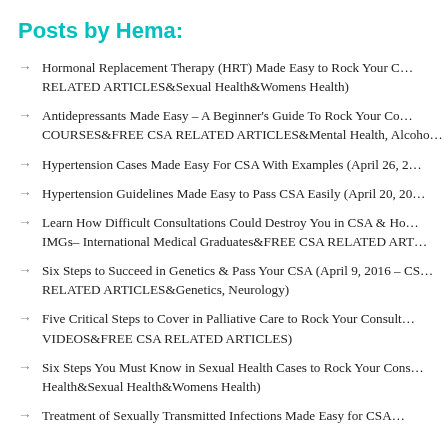Posts by Hema:
Hormonal Replacement Therapy (HRT) Made Easy to Rock Your C… RELATED ARTICLES&Sexual Health&Womens Health)
Antidepressants Made Easy – A Beginner's Guide To Rock Your Co… COURSES&FREE CSA RELATED ARTICLES&Mental Health, Alcoho…
Hypertension Cases Made Easy For CSA With Examples (April 26, 2…
Hypertension Guidelines Made Easy to Pass CSA Easily (April 20, 20…
Learn How Difficult Consultations Could Destroy You in CSA & Ho… IMGs– International Medical Graduates&FREE CSA RELATED ART…
Six Steps to Succeed in Genetics & Pass Your CSA (April 9, 2016 – CS… RELATED ARTICLES&Genetics, Neurology)
Five Critical Steps to Cover in Palliative Care to Rock Your Consult… VIDEOS&FREE CSA RELATED ARTICLES)
Six Steps You Must Know in Sexual Health Cases to Rock Your Cons… Health&Sexual Health&Womens Health)
Treatment of Sexually Transmitted Infections Made Easy for CSA…